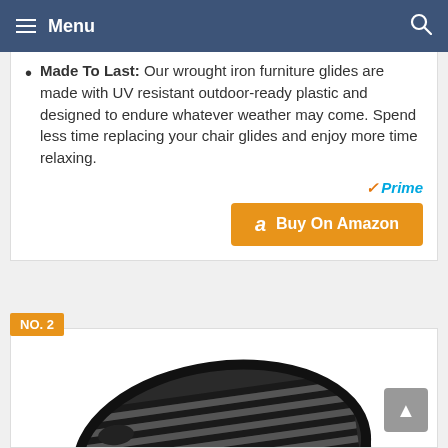Menu
Made To Last: Our wrought iron furniture glides are made with UV resistant outdoor-ready plastic and designed to endure whatever weather may come. Spend less time replacing your chair glides and enjoy more time relaxing.
Prime
Buy On Amazon
NO. 2
[Figure (photo): A black cast iron grill grate viewed from above at an angle, showing a rectangular grid pattern with rounded corners.]